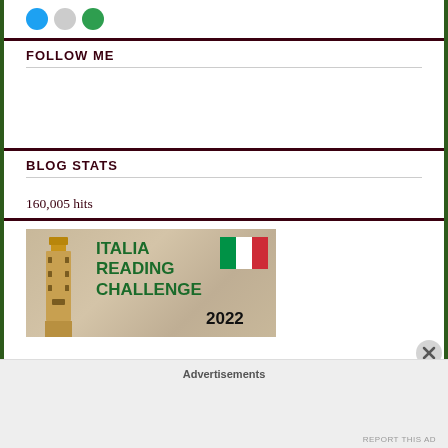[Figure (other): Social media share buttons: Twitter (blue circle), grey circle, green circle]
FOLLOW ME
BLOG STATS
160,005 hits
[Figure (illustration): Italia Reading Challenge 2022 banner with Italian flag and a tower (Venice campanile), green bold text on beige background]
Advertisements
REPORT THIS AD